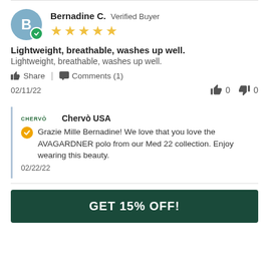Bernadine C. Verified Buyer ★★★★★
Lightweight, breathable, washes up well.
Lightweight, breathable, washes up well.
Share | Comments (1)
02/11/22  👍 0  👎 0
Chervò USA
Grazie Mille Bernadine! We love that you love the AVAGARDNER polo from our Med 22 collection. Enjoy wearing this beauty.
02/22/22
GET 15% OFF!